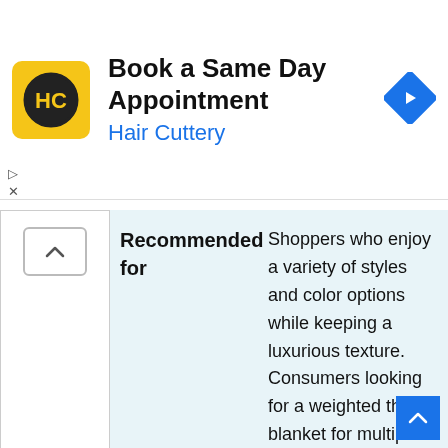[Figure (screenshot): Hair Cuttery advertisement banner with yellow logo showing HC initials, title 'Book a Same Day Appointment', subtitle 'Hair Cuttery' in blue, and a blue diamond navigation arrow icon on the right.]
Recommended for
Shoppers who enjoy a variety of styles and color options while keeping a luxurious texture. Consumers looking for a weighted throw blanket for multiple use.